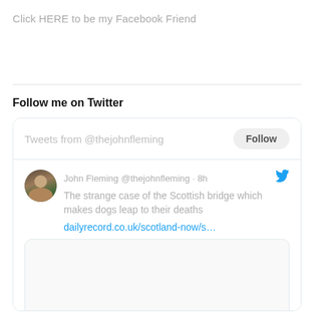Click HERE to be my Facebook Friend
Follow me on Twitter
[Figure (screenshot): Twitter widget showing tweets from @thejohnfleming with a Follow button. A tweet from John Fleming @thejohnfleming 8h reads: The strange case of the Scottish bridge which makes dogs leap to their deaths, with a link to dailyrecord.co.uk/scotland-now/s... and an image card below.]